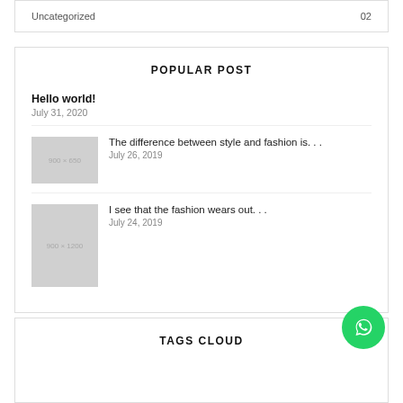Uncategorized    02
POPULAR POST
Hello world!
July 31, 2020
The difference between style and fashion is. . .
July 26, 2019
I see that the fashion wears out. . .
July 24, 2019
TAGS CLOUD